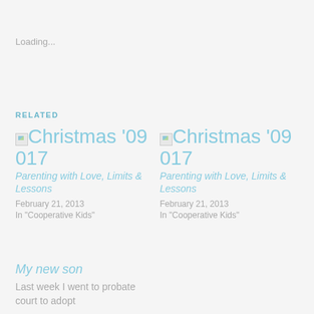Loading...
RELATED
Christmas '09 017
Parenting with Love, Limits & Lessons
February 21, 2013
In "Cooperative Kids"
Christmas '09 017
Parenting with Love, Limits & Lessons
February 21, 2013
In "Cooperative Kids"
My new son
Last week I went to probate court to adopt